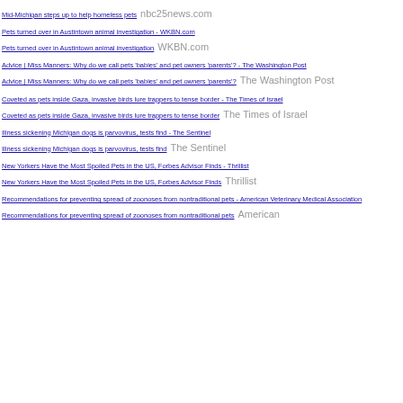Mid-Michigan steps up to help homeless pets  nbc25news.com
Pets turned over in Austintown animal investigation - WKBN.com
Pets turned over in Austintown animal investigation  WKBN.com
Advice | Miss Manners: Why do we call pets 'babies' and pet owners 'parents'? - The Washington Post
Advice | Miss Manners: Why do we call pets 'babies' and pet owners 'parents'?  The Washington Post
Coveted as pets inside Gaza, invasive birds lure trappers to tense border - The Times of Israel
Coveted as pets inside Gaza, invasive birds lure trappers to tense border  The Times of Israel
Illness sickening Michigan dogs is parvovirus, tests find - The Sentinel
Illness sickening Michigan dogs is parvovirus, tests find  The Sentinel
New Yorkers Have the Most Spoiled Pets in the US, Forbes Advisor Finds - Thrillist
New Yorkers Have the Most Spoiled Pets in the US, Forbes Advisor Finds  Thrillist
Recommendations for preventing spread of zoonoses from nontraditional pets - American Veterinary Medical Association
Recommendations for preventing spread of zoonoses from nontraditional pets  American